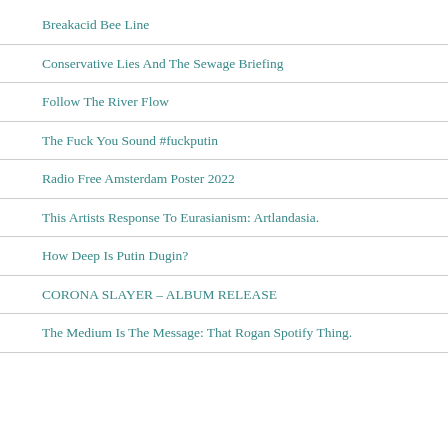Breakacid Bee Line
Conservative Lies And The Sewage Briefing
Follow The River Flow
The Fuck You Sound #fuckputin
Radio Free Amsterdam Poster 2022
This Artists Response To Eurasianism: Artlandasia.
How Deep Is Putin Dugin?
CORONA SLAYER – ALBUM RELEASE
The Medium Is The Message: That Rogan Spotify Thing.